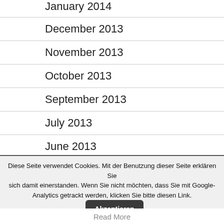January 2014
December 2013
November 2013
October 2013
September 2013
July 2013
June 2013
Diese Seite verwendet Cookies. Mit der Benutzung dieser Seite erklären Sie sich damit einerstanden. Wenn Sie nicht möchten, dass Sie mit Google-Analytics getrackt werden, klicken Sie bitte diesen Link.
Akzeptieren
Read More